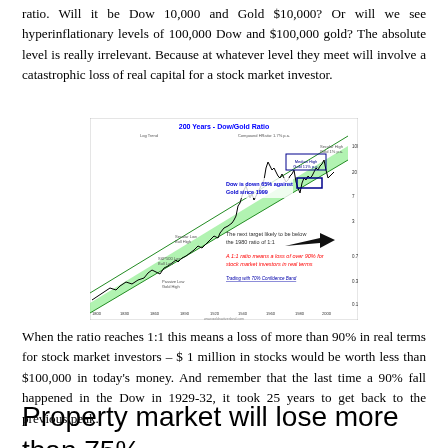ratio. Will it be Dow 10,000 and Gold $10,000? Or will we see hyperinflationary levels of 100,000 Dow and $100,000 gold? The absolute level is really irrelevant. Because at whatever level they meet will involve a catastrophic loss of real capital for a stock market investor.
[Figure (continuous-plot): 200 Years - Dow/Gold Ratio chart showing a long-term channel with green shading. Annotations include 'Dow is down 65% against Gold since 1999', 'The next target likely to be below the 1980 ratio of 1:1', 'A 1:1 ratio means a loss of over 90% for stock market investors in real terms', and 'Trading with 70% Confidence Band'. The chart shows the ratio trending in a rising channel from the 1800s to present, with the current level around 12 after falling from a high near 42.]
When the ratio reaches 1:1 this means a loss of more than 90% in real terms for stock market investors – $ 1 million in stocks would be worth less than $100,000 in today's money. And remember that the last time a 90% fall happened in the Dow in 1929-32, it took 25 years to get back to the previous peak.
Property market will lose more than 75%